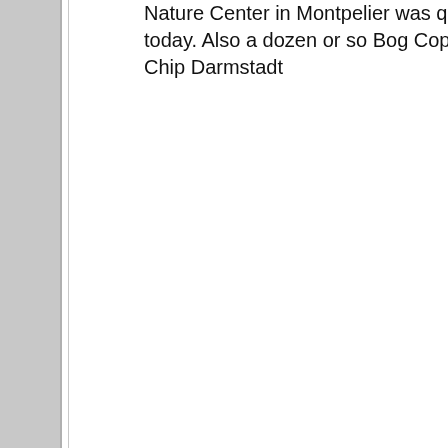Nature Center in Montpelier was quite a surprise during our NABA 4th of July butterfly count today. Also a dozen or so Bog Coppers in South Woodbury later in the day.
Chip Darmstadt